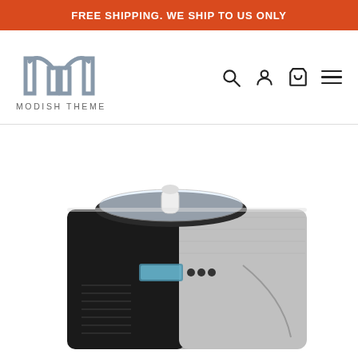FREE SHIPPING. WE SHIP TO US ONLY
[Figure (logo): Modish Theme logo with stylized M letter mark above the text MODISH THEME]
[Figure (photo): An ice cream maker machine with stainless steel and black body, clear lid on top, LCD display and control buttons on the front panel, ventilation grilles on the side]